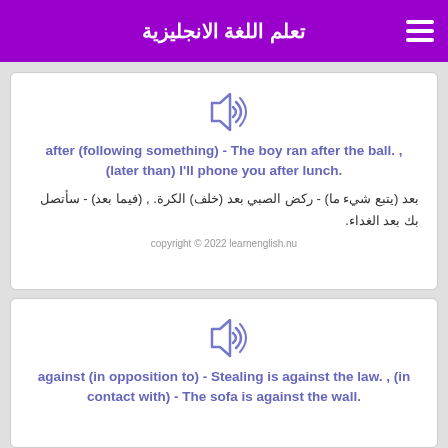تعلم اللغة الانجليزية
[Figure (illustration): Speaker/audio icon in blue-purple outline style]
after (following something) - The boy ran after the ball. , (later than) I'll phone you after lunch.
بعد (يتبع شيء ما) - ركض الصبي بعد (خلف) الكرة. , (فيما بعد) - سأتصل بك بعد الغداء.
copyright © 2022 learnenglish.nu
[Figure (illustration): Speaker/audio icon in blue-purple outline style]
against (in opposition to) - Stealing is against the law. , (in contact with) - The sofa is against the wall.